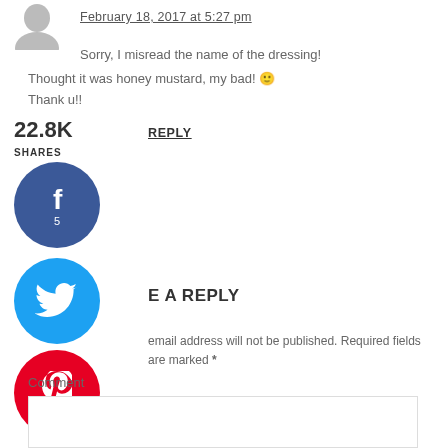[Figure (illustration): Gray silhouette avatar icon]
February 18, 2017 at 5:27 pm
Sorry, I misread the name of the dressing!
Thought it was honey mustard, my bad! 🙂
Thank u!!
22.8K
SHARES
REPLY
[Figure (logo): Facebook share button circle icon with f and number 5]
[Figure (logo): Twitter share button circle icon]
[Figure (logo): Pinterest share button circle icon with 22.8K]
[Figure (logo): Yummly share button circle icon]
LEAVE A REPLY
Your email address will not be published. Required fields are marked *
Recipe Rating
☆☆☆☆☆
Comment